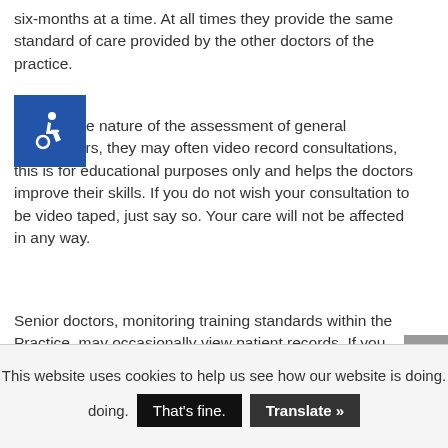six-months at a time. At all times they provide the same standard of care provided by the other doctors of the practice.
[Figure (illustration): Blue accessibility icon (wheelchair symbol) overlapping text]
e nature of the assessment of general practitioners, they may often video record consultations, this is for educational purposes only and helps the doctors improve their skills. If you do not wish your consultation to be video taped, just say so. Your care will not be affected in any way.
Senior doctors, monitoring training standards within the Practice, may occasionally view patient records. If you have any objection to this, you should inform the surgery at your earliest opportunity.
This website uses cookies to help us see how our website is doing. That's fine. Translate »